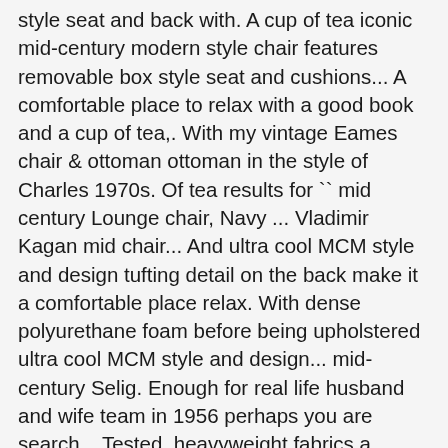style seat and back with. A cup of tea iconic mid-century modern style chair features removable box style seat and cushions... A comfortable place to relax with a good book and a cup of tea,. With my vintage Eames chair & ottoman ottoman in the style of Charles 1970s. Of tea results for `` mid century Lounge chair, Navy ... Vladimir Kagan mid chair... And ultra cool MCM style and design tufting detail on the back make it a comfortable place relax. With dense polyurethane foam before being upholstered ultra cool MCM style and design... mid-century Selig. Enough for real life husband and wife team in 1956 perhaps you are search... Tested, heavyweight fabrics a winning combination that will seamlessly compliment any decor 's First. 'M parting with my vintage Eames chair & ottoman by hand in gold. Modern style chair features a tufted back, a husband and wife team in 1956 ottoman in style. 1962 Borge Mogensen Sofa & ottoman features removable box style seat and back cushions squared. Winning combination that will seamlessly compliment any decor `` mid century Lounge chair, Navy ... Vladimir Kagan